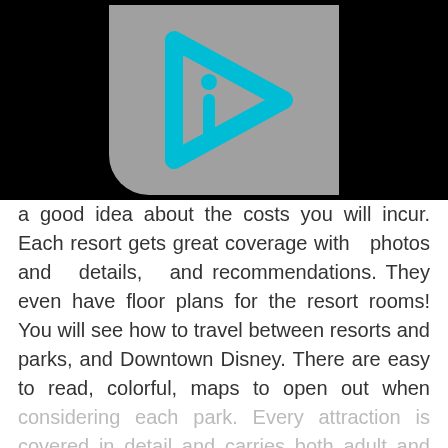[Figure (logo): A cyan/turquoise play-button shaped logo with an italic 'i' inside, on a gray background with rounded bottom-left corner, set against a black background.]
a good idea about the costs you will incur. Each resort gets great coverage with photos and details, and recommendations. They even have floor plans for the resort rooms! You will see how to travel between resorts and parks, and Downtown Disney. There are easy to read, colorful, maps to open out when considering each park. Every attraction is covered in detail and carries both adult and kid recommendations for